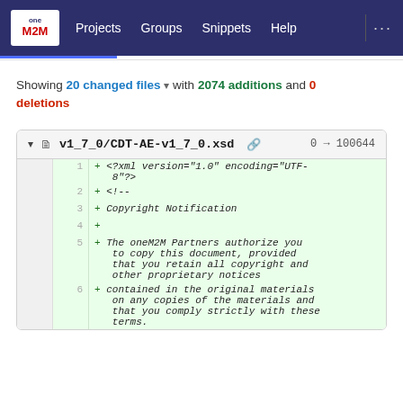Projects  Groups  Snippets  Help
Showing 20 changed files with 2074 additions and 0 deletions
v1_7_0/CDT-AE-v1_7_0.xsd  0 → 100644
1 + <?xml version="1.0" encoding="UTF-8"?>
2 + <!--
3 + Copyright Notification
4 +
5 + The oneM2M Partners authorize you to copy this document, provided that you retain all copyright and other proprietary notices
6 + contained in the original materials on any copies of the materials and that you comply strictly with these terms.